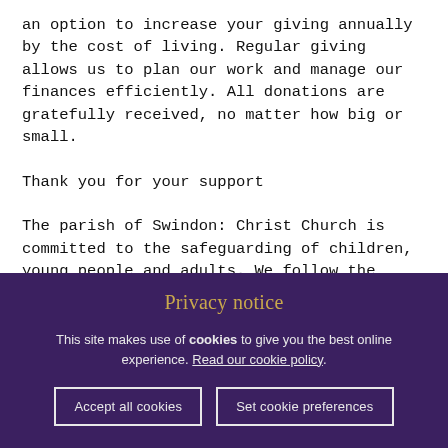an option to increase your giving annually by the cost of living. Regular giving allows us to plan our work and manage our finances efficiently. All donations are gratefully received, no matter how big or small.
Thank you for your support
The parish of Swindon: Christ Church is committed to the safeguarding of children, young people and adults. We follow the House of Bishops guidance and policies and have our own Parish Safeguarding Officer(s), PSOs. The Diocese of
Privacy notice
This site makes use of cookies to give you the best online experience. Read our cookie policy.
Accept all cookies   Set cookie preferences